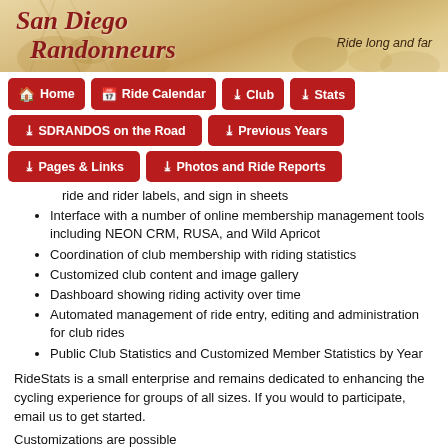San Diego Randonneurs — Ride long and far
[Figure (screenshot): Navigation menu with red buttons: Home, Ride Calendar, Club, Stats, SDRANDOS on the Road, Previous Years, Pages & Links, Photos and Ride Reports]
ride and rider labels, and sign in sheets
Interface with a number of online membership management tools including NEON CRM, RUSA, and Wild Apricot
Coordination of club membership with riding statistics
Customized club content and image gallery
Dashboard showing riding activity over time
Automated management of ride entry, editing and administration for club rides
Public Club Statistics and Customized Member Statistics by Year
RideStats is a small enterprise and remains dedicated to enhancing the cycling experience for groups of all sizes. If you would to participate, email us to get started.
Customizations are possible